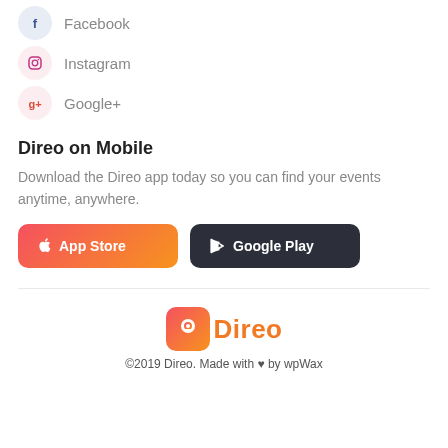Facebook
Instagram
Google+
Direo on Mobile
Download the Direo app today so you can find your events anytime, anywhere.
[Figure (other): App Store and Google Play download buttons]
[Figure (logo): Direo logo with orange icon and wordmark]
©2019 Direo. Made with by wpWax